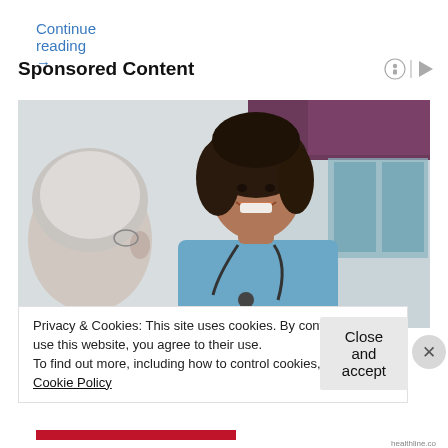Continue reading →
Sponsored Content
[Figure (photo): A smiling female nurse in blue scrubs with a stethoscope talking with an elderly male patient in a home or care setting. Purple curtains visible in background.]
Privacy & Cookies: This site uses cookies. By continuing to use this website, you agree to their use.
To find out more, including how to control cookies, see here: Cookie Policy
Close and accept